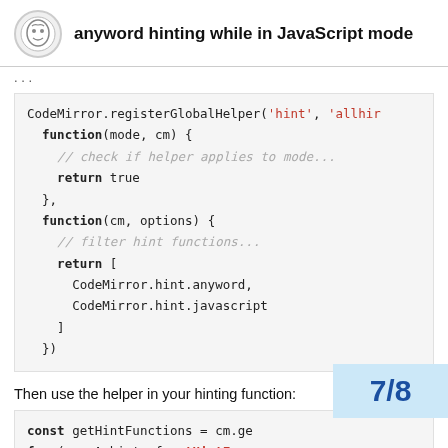anyword hinting while in JavaScript mode
...
[Figure (screenshot): Code block showing CodeMirror.registerGlobalHelper with function(mode, cm) { // check if helper applies to mode... return true }, function(cm, options) { // filter hint functions... return [ CodeMirror.hint.anyword, CodeMirror.hint.javascript ] })]
Then use the helper in your hinting function:
[Figure (screenshot): Code block showing const getHintFunctions = cm.ge... and for (const hint of getHintFunc... and const completion = hint(cm...]